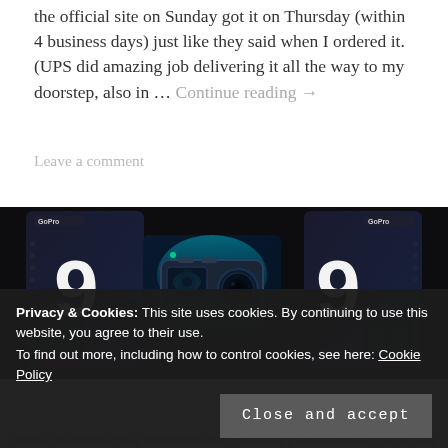the official site on Sunday got it on Thursday (within 4 business days) just like they said when I ordered it. (UPS did amazing job delivering it all the way to my doorstep, also in … Continue reading →
Leave a comment
[Figure (photo): Three GoPro Hero 9 Black camera product boxes/images shown side by side on a dark background: left box shows the camera product box with large '9' numeral, center shows a close-up of the camera body with lens, right shows another camera product box with '9' numeral.]
Privacy & Cookies: This site uses cookies. By continuing to use this website, you agree to their use.
To find out more, including how to control cookies, see here: Cookie Policy
Close and accept
Create a free website or blog at WordPress.com. / Baskerville 2 by Anders Noren / Your Account